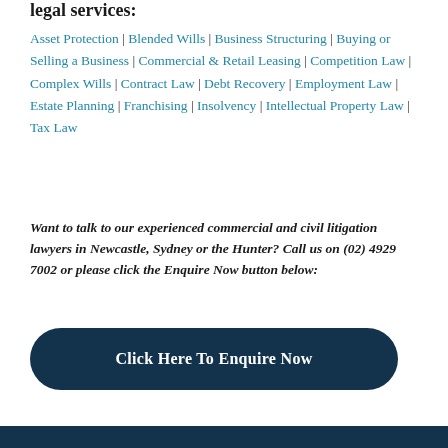legal services:
Asset Protection | Blended Wills | Business Structuring | Buying or Selling a Business | Commercial & Retail Leasing | Competition Law | Complex Wills | Contract Law | Debt Recovery | Employment Law | Estate Planning | Franchising | Insolvency | Intellectual Property Law | Tax Law
Want to talk to our experienced commercial and civil litigation lawyers in Newcastle, Sydney or the Hunter? Call us on (02) 4929 7002 or please click the Enquire Now button below:
Click Here To Enquire Now